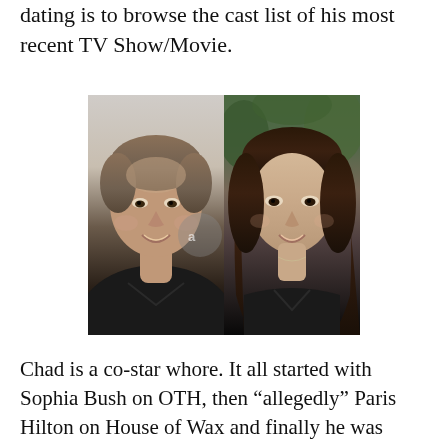dating is to browse the cast list of his most recent TV Show/Movie.
[Figure (photo): Two side-by-side photos: left shows a man with short dark blonde hair wearing a black v-neck shirt, smiling; right shows a woman with long wavy dark brown hair wearing a black top, smiling.]
Chad is a co-star whore. It all started with Sophia Bush on OTH, then “allegedly” Paris Hilton on House of Wax and finally he was engaged to extra Kenzie Dalton from OTH for like ever and most